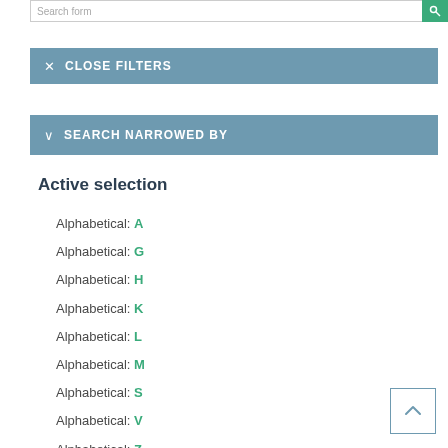CLOSE FILTERS
SEARCH NARROWED BY
Active selection
Alphabetical: A
Alphabetical: G
Alphabetical: H
Alphabetical: K
Alphabetical: L
Alphabetical: M
Alphabetical: S
Alphabetical: V
Alphabetical: Z